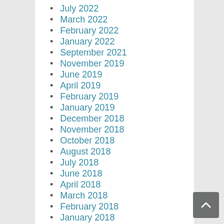July 2022
March 2022
February 2022
January 2022
September 2021
November 2019
June 2019
April 2019
February 2019
January 2019
December 2018
November 2018
October 2018
August 2018
July 2018
June 2018
April 2018
March 2018
February 2018
January 2018